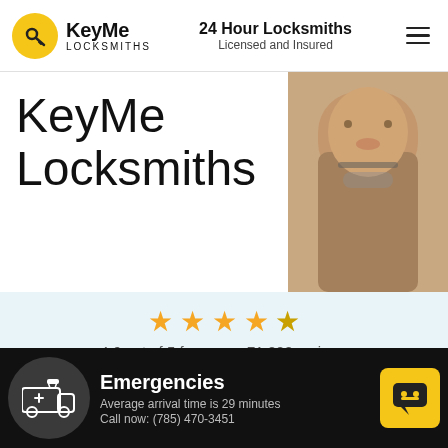KeyMe Locksmiths | 24 Hour Locksmiths Licensed and Insured
KeyMe Locksmiths
[Figure (photo): Man with glasses and beard working at a desk]
4.6 out of 5 from over 71,000 reviews
Call 24hrs: (785) 470-3451
Copying a Key? See the nearest kiosk below
Emergencies
Average arrival time is 29 minutes
Call now: (785) 470-3451